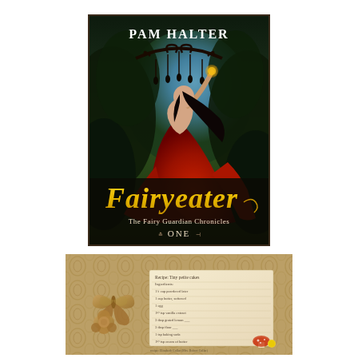[Figure (illustration): Book cover of 'Fairyeater: The Fairy Guardian Chronicles ONE' by Pam Halter. Dark fantasy cover showing a woman in a long red dress with black hair, reaching up toward a decorative iron chandelier with hanging figures, set against a moonlit forest background with twisted tree branches. The title 'Fairyeater' is in large gold/yellow stylized text at the bottom, with 'The Fairy Guardian Chronicles' and 'ONE' below in white text with decorative dividers.]
[Figure (photo): A vintage-style photo showing a handwritten recipe card on a brown floral patterned background, with two metal butterfly/flower cookie cutters placed to the left. The recipe card has handwritten text listing ingredients. A small mushroom illustration is visible at the bottom right of the card.]